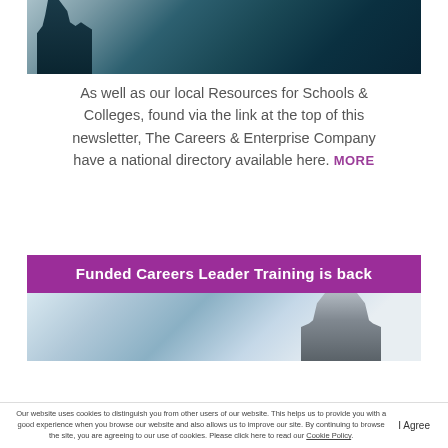[Figure (photo): Dark teal/slate background photo showing a partially visible person in business attire, viewed from above or at an angle]
As well as our local Resources for Schools & Colleges, found via the link at the top of this newsletter, The Careers & Enterprise Company have a national directory available here. MORE
[Figure (photo): Section banner with purple header bar reading 'Funded Careers Leader Training is back' and a photo below showing a man in a suit at a whiteboard in a bright office setting]
Our website uses cookies to distinguish you from other users of our website. This helps us to provide you with a good experience when you browse our website and also allows us to improve our site. By continuing to browse the site, you are agreeing to our use of cookies. Please click here to read our Cookie Policy.